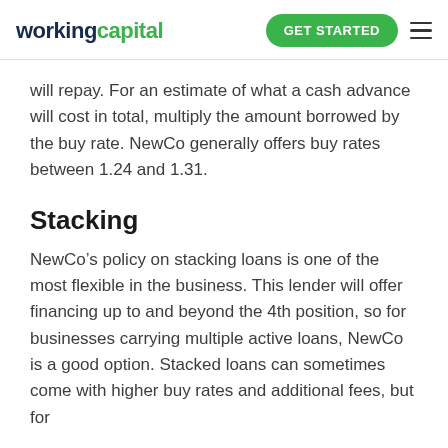workingcapital | GET STARTED
will repay. For an estimate of what a cash advance will cost in total, multiply the amount borrowed by the buy rate. NewCo generally offers buy rates between 1.24 and 1.31.
Stacking
NewCo’s policy on stacking loans is one of the most flexible in the business. This lender will offer financing up to and beyond the 4th position, so for businesses carrying multiple active loans, NewCo is a good option. Stacked loans can sometimes come with higher buy rates and additional fees, but for